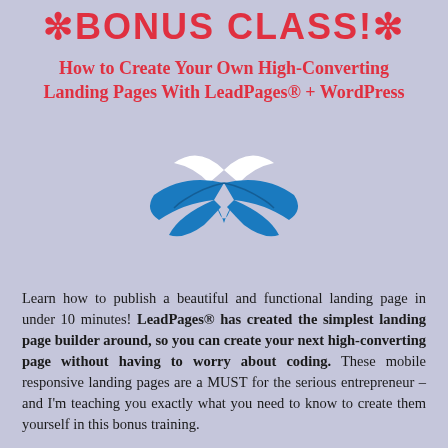*BONUS CLASS!*
How to Create Your Own High-Converting Landing Pages With LeadPages® + WordPress
[Figure (logo): LeadPages logo: a stylized bird/book shape in blue and white]
Learn how to publish a beautiful and functional landing page in under 10 minutes! LeadPages® has created the simplest landing page builder around, so you can create your next high-converting page without having to worry about coding. These mobile responsive landing pages are a MUST for the serious entrepreneur – and I'm teaching you exactly what you need to know to create them yourself in this bonus training.